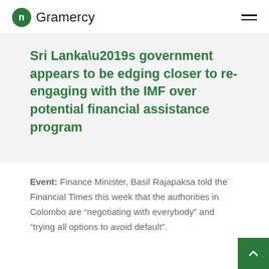Gramercy
Sri Lanka’s government appears to be edging closer to re-engaging with the IMF over potential financial assistance program
Event: Finance Minister, Basil Rajapaksa told the Financial Times this week that the authorities in Colombo are “negotiating with everybody” and “trying all options to avoid default”.